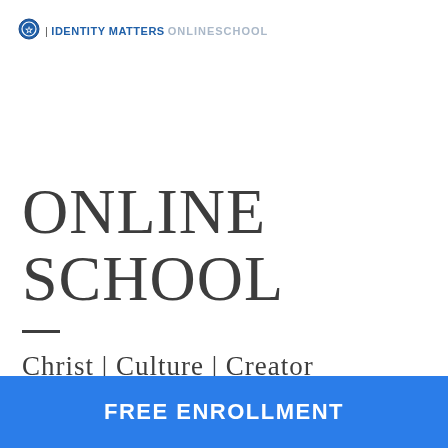| IDENTITY MATTERS ONLINE SCHOOL
ONLINE SCHOOL
Christ | Culture | Creator
FREE ENROLLMENT